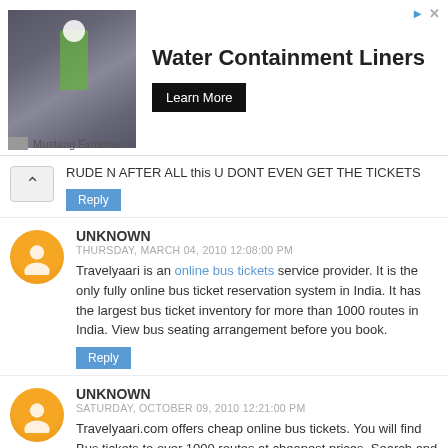[Figure (photo): Advertisement banner: photo of worker on rooftop with yellow safety gear, text 'Water Containment Liners' with 'Learn More' button, branded by Mustang Extreme]
RUDE N AFTER ALL this U DONT EVEN GET THE TICKETS
Reply
UNKNOWN
THURSDAY, MARCH 04, 2010 12:08:00 PM
Travelyaari is an online bus tickets service provider. It is the only fully online bus ticket reservation system in India. It has the largest bus ticket inventory for more than 1000 routes in India. View bus seating arrangement before you book.
Reply
UNKNOWN
SATURDAY, OCTOBER 09, 2010 12:21:00 PM
Travelyaari.com offers cheap online bus tickets. You will find Bus tickets to over 1000 routes at cheapest prices. Search and book bus tickets online.